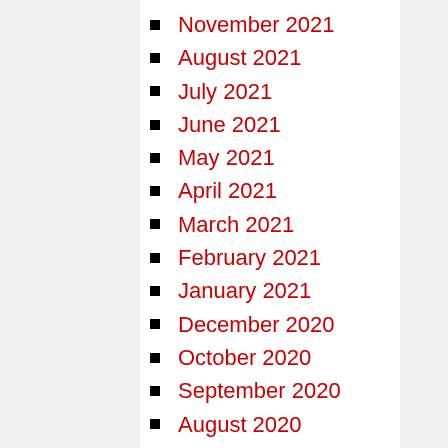November 2021
August 2021
July 2021
June 2021
May 2021
April 2021
March 2021
February 2021
January 2021
December 2020
October 2020
September 2020
August 2020
July 2020
June 2020
April 2020